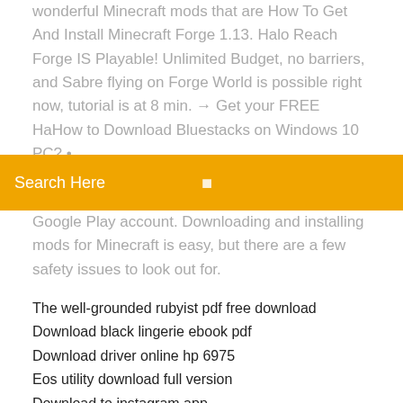wonderful Minecraft mods that are How To Get And Install Minecraft Forge 1.13. Halo Reach Forge IS Playable! Unlimited Budget, no barriers, and Sabre flying on Forge World is possible right now, tutorial is at 8 min. → Get your FREE HaHow to Download Bluestacks on Windows 10 PC? • PlayForgeWarplayforgewar.com/bluestacksIt also comes with
Search Here
Google Play account. Downloading and installing mods for Minecraft is easy, but there are a few safety issues to look out for.
The well-grounded rubyist pdf free download
Download black lingerie ebook pdf
Download driver online hp 6975
Eos utility download full version
Download to instagram app
Legacy minecraft sounds download
Prescotts microbiology 10th edition pdf free download